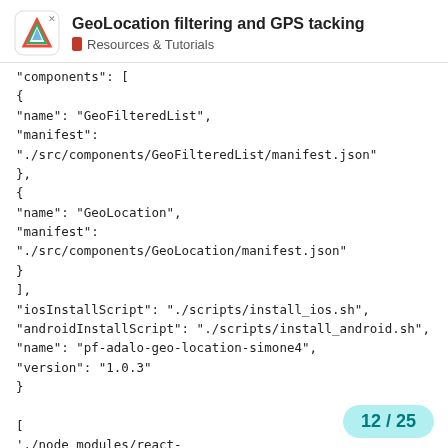GeoLocation filtering and GPS tacking — Resources & Tutorials
"components": [
{
"name": "GeoFilteredList",
"manifest": "./src/components/GeoFilteredList/manifest.json"
},
{
"name": "GeoLocation",
"manifest": "./src/components/GeoLocation/manifest.json"
}
],
"iosInstallScript": "./scripts/install_ios.sh",
"androidInstallScript": "./scripts/install_android.sh",
"name": "pf-adalo-geo-location-simone4",
"version": "1.0.3"
}

[
'./node_modules/react-native/Libraries/Components/Unimplemen...
12 / 25